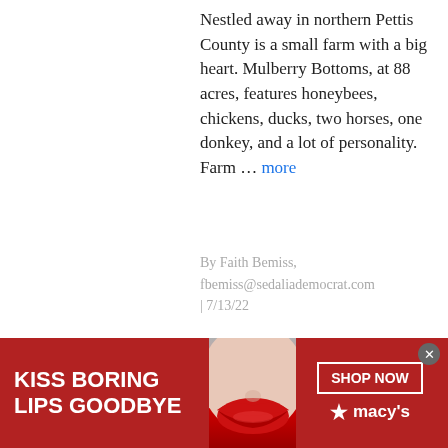Nestled away in northern Pettis County is a small farm with a big heart. Mulberry Bottoms, at 88 acres, features honeybees, chickens, ducks, two horses, one donkey, and a lot of personality. Farm … more
By Faith Bemiss, fbemiss@sedaliademocrat.com | 7/13/22
[Figure (photo): Thumbnail photo of a man smiling in front of a red vehicle]
Kyle Herrick sells Bryant Motors
[Figure (photo): Advertisement banner: KISS BORING LIPS GOODBYE — image of woman's face with red lips — SHOP NOW ★ macy's]